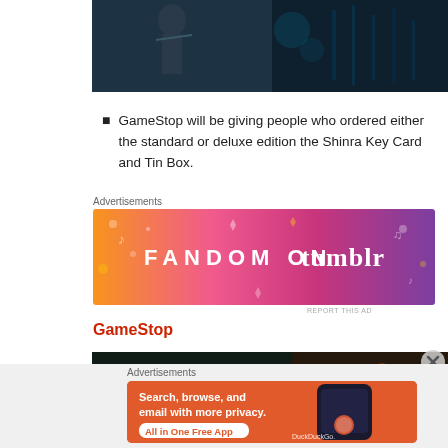[Figure (photo): Dark video game screenshot showing an armored character with glowing elements and cityscape background]
GameStop will be giving people who ordered either the standard or deluxe edition the Shinra Key Card and Tin Box.
Advertisements
[Figure (illustration): Fandom on Tumblr advertisement banner with colorful orange-to-purple gradient background and musical/fun icons]
REPORT THIS AD
GameStop
[Figure (photo): Dark video game screenshot, partial view]
Advertisements
[Figure (screenshot): DuckDuckGo advertisement: Search, browse, and email with more privacy. All in One Free App. Shows phone mockup with DuckDuckGo logo.]